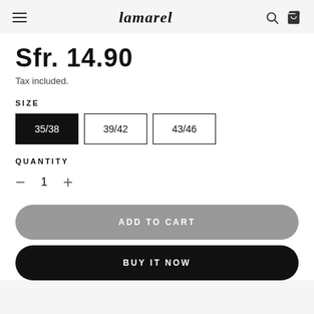lamarel
Sfr. 14.90
Tax included.
SIZE
35/38  39/42  43/46
QUANTITY
- 1 +
ADD TO CART
BUY IT NOW